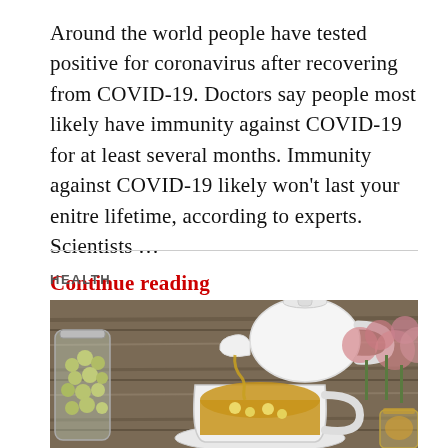Around the world people have tested positive for coronavirus after recovering from COVID-19. Doctors say people most likely have immunity against COVID-19 for at least several months. Immunity against COVID-19 likely won't last your enitre lifetime, according to experts. Scientists … Continue reading
HEALTH
[Figure (photo): A white teapot pouring tea into a white cup with chamomile flowers, sitting on a wooden surface, with a glass jar of dried chamomile flowers on the left and pink flowers in the background on the right.]